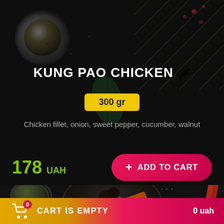[Figure (photo): Dark background food dish product card for Kung Pao Chicken. Top section shows dark table with a bowl of peppercorns, decorative gold grid, and spice accents. Bottom section shows a dark bowl of Kung Pao Chicken with vegetables, red chopsticks, side dish with sesame seeds.]
KUNG PAO CHICKEN 🌶
300 gr
Chicken fillet, onion, sweet pepper, cucumber, walnut
178 UAH
+ ADD TO CART
CART IS EMPTY  0 uah